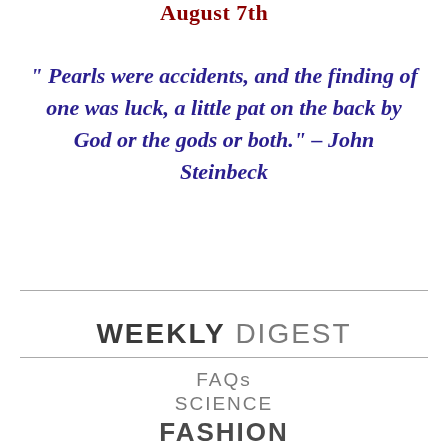August 7th
" Pearls were accidents, and the finding of one was luck, a little pat on the back by God or the gods or both." – John Steinbeck
WEEKLY DIGEST
FAQs
SCIENCE
FASHION